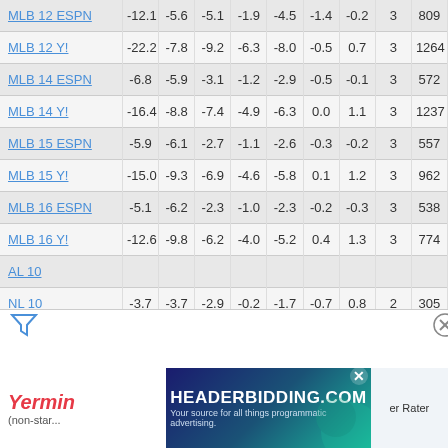| League | Col1 | Col2 | Col3 | Col4 | Col5 | Col6 | Col7 | Col8 | Col9 |
| --- | --- | --- | --- | --- | --- | --- | --- | --- | --- |
| MLB 12 ESPN | -12.1 | -5.6 | -5.1 | -1.9 | -4.5 | -1.4 | -0.2 | 3 | 809 |
| MLB 12 Y! | -22.2 | -7.8 | -9.2 | -6.3 | -8.0 | -0.5 | 0.7 | 3 | 1264 |
| MLB 14 ESPN | -6.8 | -5.9 | -3.1 | -1.2 | -2.9 | -0.5 | -0.1 | 3 | 572 |
| MLB 14 Y! | -16.4 | -8.8 | -7.4 | -4.9 | -6.3 | 0.0 | 1.1 | 3 | 1237 |
| MLB 15 ESPN | -5.9 | -6.1 | -2.7 | -1.1 | -2.6 | -0.3 | -0.2 | 3 | 557 |
| MLB 15 Y! | -15.0 | -9.3 | -6.9 | -4.6 | -5.8 | 0.1 | 1.2 | 3 | 962 |
| MLB 16 ESPN | -5.1 | -6.2 | -2.3 | -1.0 | -2.3 | -0.2 | -0.3 | 3 | 538 |
| MLB 16 Y! | -12.6 | -9.8 | -6.2 | -4.0 | -5.2 | 0.4 | 1.3 | 3 | 774 |
| AL 10 |  |  |  |  |  |  |  |  |  |
| NL 10 | -3.7 | -3.7 | -2.9 | -0.2 | -1.7 | -0.7 | 0.8 | 2 | 305 |
| AL 12 |  |  |  |  |  |  |  |  |  |
| NL 12 | 0.2 | -3.7 | -1.3 | 0.3 | -0.6 | 0.0 | 0.9 | 2 | 272 |
Yermin (non-star...  er Rater